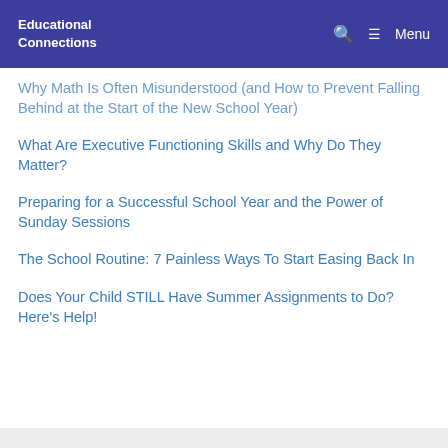Educational Connections
Why Math Is Often Misunderstood (and How to Prevent Falling Behind at the Start of the New School Year)
What Are Executive Functioning Skills and Why Do They Matter?
Preparing for a Successful School Year and the Power of Sunday Sessions
The School Routine: 7 Painless Ways To Start Easing Back In
Does Your Child STILL Have Summer Assignments to Do? Here's Help!